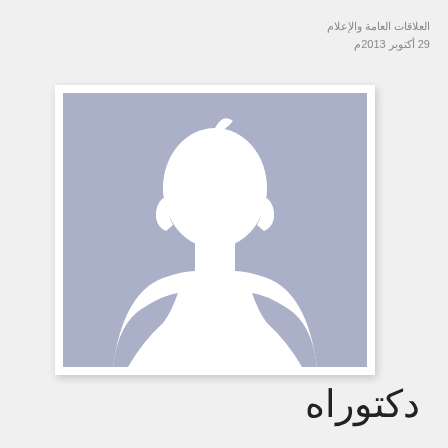العلاقات العامة والإعلام
29 أكتوبر 2013م
[Figure (illustration): Generic male silhouette placeholder avatar image on a blue-gray background, in a white photo card frame with drop shadow.]
دكتوراه